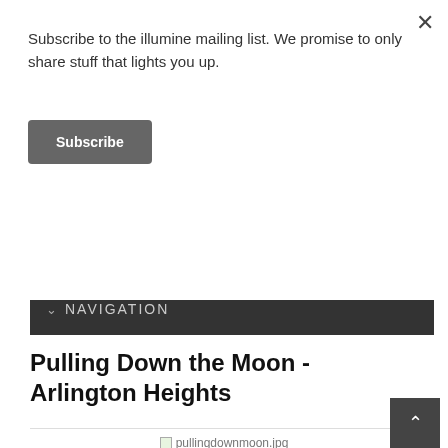Subscribe to the illumine mailing list. We promise to only share stuff that lights you up.
Subscribe
[Figure (photo): Website header banner showing cherry blossoms and blue sky with circular logo overlay]
NAVIGATION
Pulling Down the Moon - Arlington Heights
[Figure (photo): Image placeholder: pullingdownmoon.jpg]
YOGA STUDIO   Fertility Yoga
847.472.9550